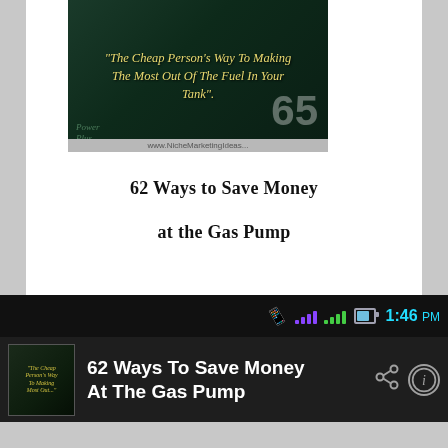[Figure (illustration): Book cover for '62 Ways to Save Money at the Gas Pump' showing dark green background with yellow italic text reading 'The Cheap Person's Way To Making The Most Out Of The Fuel In Your Tank'. Shows a Power Plus logo at bottom-left and a website URL www.NicheMarketingIdeas... at the bottom, with large faded '65' number visible.]
62 Ways to Save Money at the Gas Pump
[Figure (screenshot): Android smartphone status bar showing signal icons (purple and green bars), battery icon, and time 1:46 PM in cyan on black background.]
[Figure (screenshot): Android app bar on dark background showing app icon thumbnail, text '62 Ways To Save Money At The Gas Pump', share icon, and info icon.]